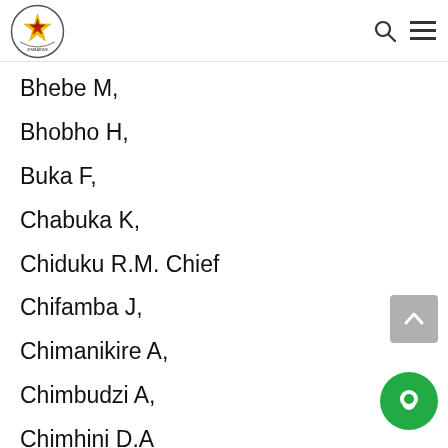Parliament of Zimbabwe
Bhebe M,
Bhobho H,
Buka F,
Chabuka K,
Chiduku R.M. Chief
Chifamba J,
Chimanikire A,
Chimbudzi A,
Chimhini D.A